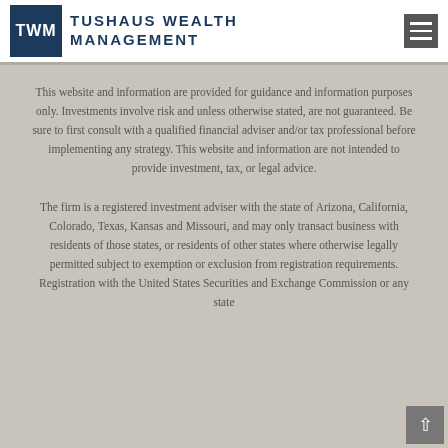Tushaus Wealth Management
This website and information are provided for guidance and information purposes only. Investments involve risk and unless otherwise stated, are not guaranteed. Be sure to first consult with a qualified financial adviser and/or tax professional before implementing any strategy. This website and information are not intended to provide investment, tax, or legal advice.
The firm is a registered investment adviser with the state of Arizona, California, Colorado, Texas, Kansas and Missouri, and may only transact business with residents of those states, or residents of other states where otherwise legally permitted subject to exemption or exclusion from registration requirements. Registration with the United States Securities and Exchange Commission or any state